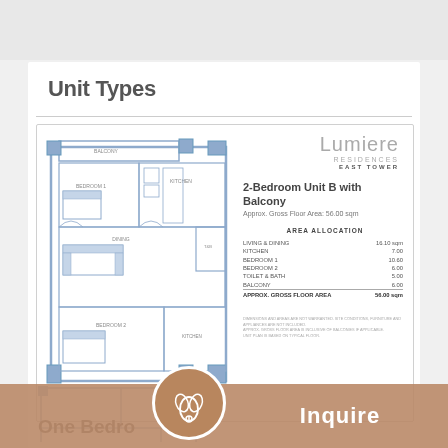Unit Types
[Figure (engineering-diagram): 2-bedroom floor plan unit B with balcony, showing rooms labeled BALCONY, BEDROOM 1, BEDROOM 2, KITCHEN, DINING, and TOILET & BATH in blue architectural style]
Lumiere RESIDENCES EAST TOWER
2-Bedroom Unit B with Balcony
Approx. Gross Floor Area: 56.00 sqm
AREA ALLOCATION
|  |  |
| --- | --- |
| LIVING & DINING | 16.10 sqm |
| KITCHEN | 7.00 |
| BEDROOM 1 | 10.60 |
| BEDROOM 2 | 6.00 |
| TOILET & BATH | 5.00 |
| BALCONY | 6.00 |
| APPROX. GROSS FLOOR AREA | 56.00 sqm |
DIMENSIONS AND AREAS ARE NOT WARRANTED. SITE CONDITIONS, FURNITURE AND APPLIANCES ARE NOT INCLUDED. APPROX. GROSS FLOOR AREA IS INCLUSIVE OF BALCONIES IF APPLICABLE. UNIT PLAN IS BASED ON TYPICAL FLOOR.
One Bedro...
Inquire